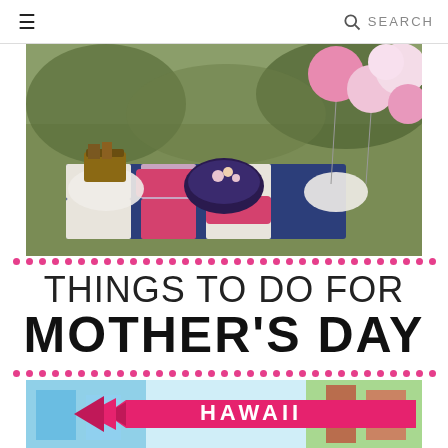≡  SEARCH
[Figure (photo): Outdoor picnic setup with navy and pink/magenta blanket, white fluffy cushions, decorative ottoman in center with flowers, pink and white balloon arch on right side, surrounded by trees]
THINGS TO DO FOR MOTHER'S DAY
[Figure (photo): Bottom portion showing a Hawaii banner in hot pink with arrow pointing left, and partial view of a colorful table setting or display]